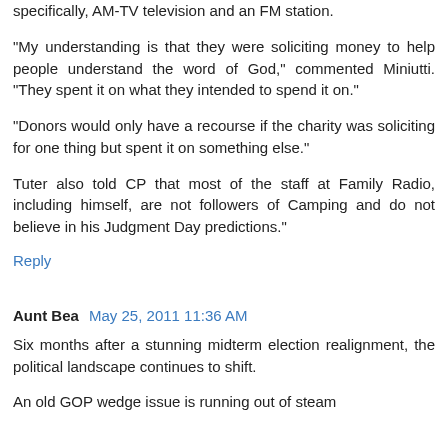"My understanding is that they were soliciting money to help people understand the word of God," commented Miniutti. "They spent it on what they intended to spend it on."
"Donors would only have a recourse if the charity was soliciting for one thing but spent it on something else."
Tuter also told CP that most of the staff at Family Radio, including himself, are not followers of Camping and do not believe in his Judgment Day predictions."
Reply
Aunt Bea  May 25, 2011 11:36 AM
Six months after a stunning midterm election realignment, the political landscape continues to shift.
An old GOP wedge issue is running out of steam